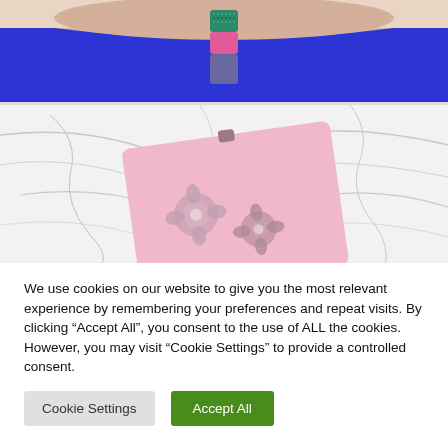[Figure (photo): Close-up of a wrist wearing a colorful beaded bracelet (teal, pink, dark sections), wearing a cobalt blue top, skin visible at top]
[Figure (photo): Pink beaded/embroidered clutch bag with floral silver embellishments on a white marble background]
We use cookies on our website to give you the most relevant experience by remembering your preferences and repeat visits. By clicking “Accept All”, you consent to the use of ALL the cookies. However, you may visit “Cookie Settings” to provide a controlled consent.
Cookie Settings
Accept All